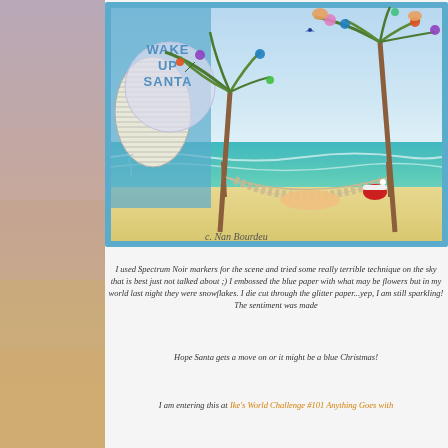[Figure (illustration): A hand-colored greeting card illustration showing Santa Claus relaxing in a hammock strung between two palm trees on a tropical beach. The card reads 'WAKE UP SANTA' with Christmas ornaments hanging from the palm trees. There is a striped flip-flop shape on the left side. The scene shows ocean waves and sandy beach. Signed 'c. Nan Bourdeu' at the bottom.]
I used Spectrum Noir markers for the scene and tried some really terrible technique on the sky that is best just not talked about ;)   I embossed the blue paper with what may be flowers but in my world last night they were snowflakes.  I die cut the sentiment from glitter paper...yep, I am still sparkling!  The sentiment was made with an emboss resist technique.
Hope Santa gets a move on or it might be a blue Christmas!
I am entering this at Ike's World Challenge #101 Anything Goes with...